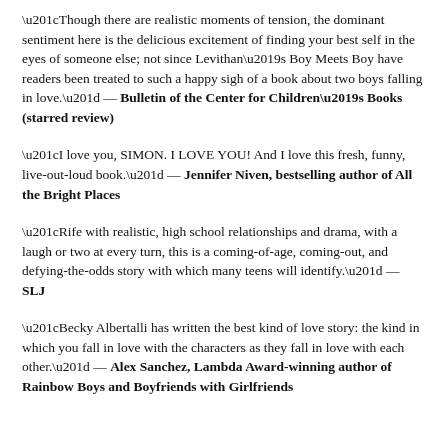“Though there are realistic moments of tension, the dominant sentiment here is the delicious excitement of finding your best self in the eyes of someone else; not since Levithan’s Boy Meets Boy have readers been treated to such a happy sigh of a book about two boys falling in love.” — Bulletin of the Center for Children’s Books (starred review)
“I love you, SIMON. I LOVE YOU! And I love this fresh, funny, live-out-loud book.” — Jennifer Niven, bestselling author of All the Bright Places
“Rife with realistic, high school relationships and drama, with a laugh or two at every turn, this is a coming-of-age, coming-out, and defying-the-odds story with which many teens will identify.” — SLJ
“Becky Albertalli has written the best kind of love story: the kind in which you fall in love with the characters as they fall in love with each other.” — Alex Sanchez, Lambda Award-winning author of Rainbow Boys and Boyfriends with Girlfriends